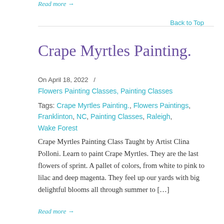Read more →
Back to Top
Crape Myrtles Painting.
On April 18, 2022  /
Flowers Painting Classes, Painting Classes
Tags: Crape Myrtles Painting., Flowers Paintings, Franklinton, NC, Painting Classes, Raleigh, Wake Forest
Crape Myrtles Painting Class Taught by Artist Clina Polloni. Learn to paint Crape Myrtles. They are the last flowers of sprint. A pallet of colors, from white to pink to lilac and deep magenta. They feel up our yards with big delightful blooms all through summer to […]
Read more →